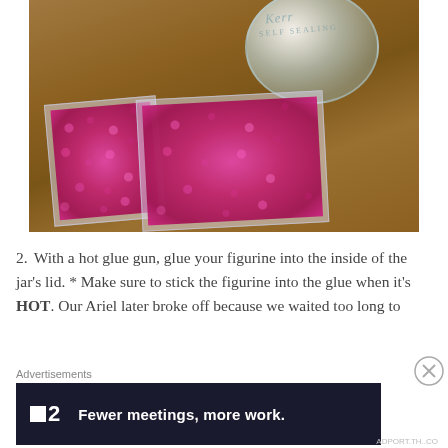[Figure (photo): Photo of craft supplies on a wooden table: a glass Mason jar (visible from the bottom), and two clear plastic trays filled with pink/magenta sequins.]
2. With a hot glue gun, glue your figurine into the inside of the jar's lid. * Make sure to stick the figurine into the glue when it's HOT. Our Ariel later broke off because we waited too long to
Advertisements
[Figure (infographic): Advertisement banner with dark navy background showing the Twist logo (small square + '2') and tagline 'Fewer meetings, more work.' in bold white text.]